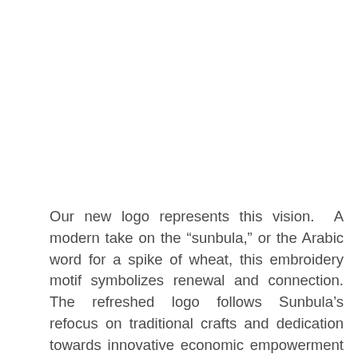Our new logo represents this vision. A modern take on the “sunbula,” or the Arabic word for a spike of wheat, this embroidery motif symbolizes renewal and connection. The refreshed logo follows Sunbula’s refocus on traditional crafts and dedication towards innovative economic empowerment for Palestinians. The line flowing through the sunbula represents the connection our organization builds between the artisans and our supporters around the globe. On